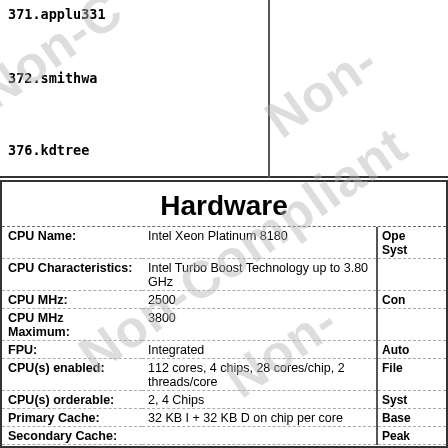371.applu331
372.smithwa
376.kdtree
Hardware
| Field | Value | Right |
| --- | --- | --- |
| CPU Name: | Intel Xeon Platinum 8180 | Ope
Syst |
| CPU Characteristics: | Intel Turbo Boost Technology up to 3.80 GHz |  |
| CPU MHz: | 2500 | Con |
| CPU MHz Maximum: | 3800 |  |
| FPU: | Integrated | Auto |
| CPU(s) enabled: | 112 cores, 4 chips, 28 cores/chip, 2 threads/core | File |
| CPU(s) orderable: | 2, 4 Chips | Syst |
| Primary Cache: | 32 KB I + 32 KB D on chip per core | Base |
| Secondary Cache: | ... | Peak |